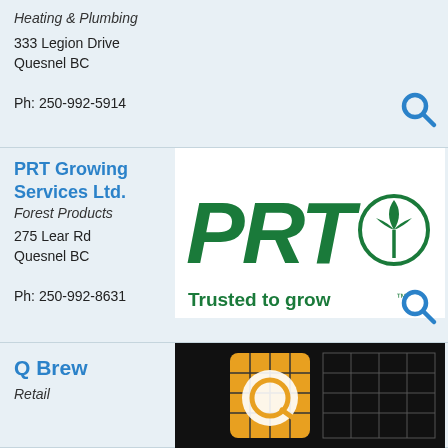Heating & Plumbing
333 Legion Drive
Quesnel BC
Ph: 250-992-5914
PRT Growing Services Ltd.
Forest Products
275 Lear Rd
Quesnel BC
Ph: 250-992-8631
[Figure (logo): PRT Growing Services logo — large green italic PRT text with a green leaf/plant circular icon, tagline 'Trusted to grow ™']
Q Brew
Retail
[Figure (logo): Q Brew logo — dark background with yellow/gold bottle or glass shape and white circle Q mark]